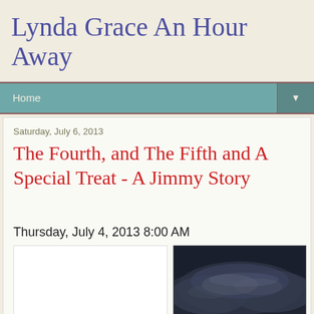Lynda Grace An Hour Away
Home
Saturday, July 6, 2013
The Fourth, and The Fifth and A Special Treat - A Jimmy Story
Thursday, July 4, 2013 8:00 AM
[Figure (photo): White blank image area on the left]
[Figure (photo): Dark stormy sky clouds photo on the right]